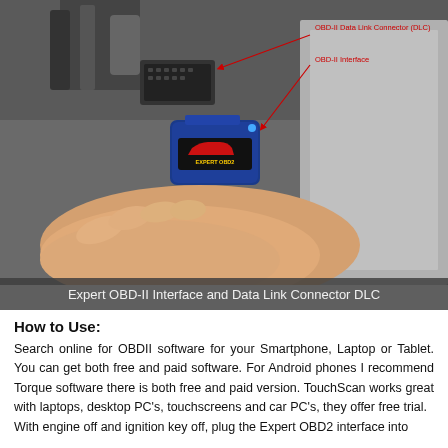[Figure (photo): A hand holding a blue Expert OBD2 interface device being inserted into an OBD-II Data Link Connector (DLC) under a vehicle dashboard. Red annotated arrows point to the OBD-II Data Link Connector (DLC) and the OBD-II Interface.]
Expert OBD-II Interface and Data Link Connector DLC
How to Use:
Search online for OBDII software for your Smartphone, Laptop or Tablet. You can get both free and paid software. For Android phones I recommend Torque software there is both free and paid version. TouchScan works great with laptops, desktop PC's, touchscreens and car PC's, they offer free trial.
With engine off and ignition key off, plug the Expert OBD2 interface into